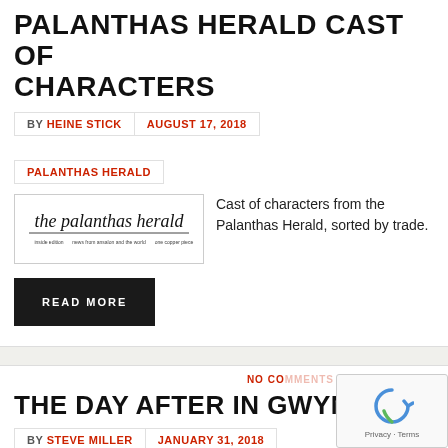PALANTHAS HERALD CAST OF CHARACTERS
BY HEINE STICK   AUGUST 17, 2018
PALANTHAS HERALD
[Figure (illustration): The Palanthas Herald newspaper logo with subtitle text]
Cast of characters from the Palanthas Herald, sorted by trade.
READ MORE
NO COMMENTS
THE DAY AFTER IN GWYNNED
BY STEVE MILLER   JANUARY 31, 2018